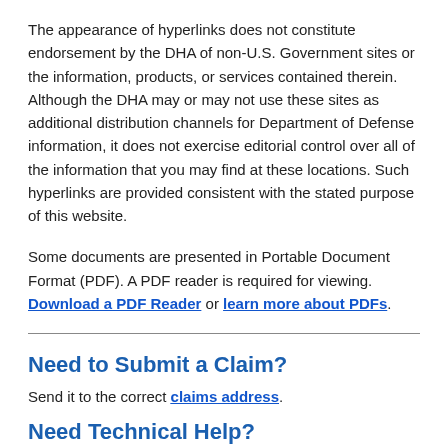The appearance of hyperlinks does not constitute endorsement by the DHA of non-U.S. Government sites or the information, products, or services contained therein. Although the DHA may or may not use these sites as additional distribution channels for Department of Defense information, it does not exercise editorial control over all of the information that you may find at these locations. Such hyperlinks are provided consistent with the stated purpose of this website.
Some documents are presented in Portable Document Format (PDF). A PDF reader is required for viewing. Download a PDF Reader or learn more about PDFs.
Need to Submit a Claim?
Send it to the correct claims address.
Need Technical Help?